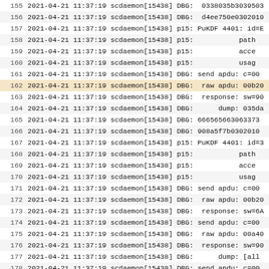| line | log entry |
| --- | --- |
| 155 | 2021-04-21 11:37:19 scdaemon[15438] DBG:  0338035b3039503 |
| 156 | 2021-04-21 11:37:19 scdaemon[15438] DBG:  d4ee750e0302010 |
| 157 | 2021-04-21 11:37:19 scdaemon[15438] p15: PuKDF 4401: id=E |
| 158 | 2021-04-21 11:37:19 scdaemon[15438] p15:          path |
| 159 | 2021-04-21 11:37:19 scdaemon[15438] p15:          acce |
| 160 | 2021-04-21 11:37:19 scdaemon[15438] p15:          usag |
| 161 | 2021-04-21 11:37:19 scdaemon[15438] DBG: send apdu: c=00 |
| 162 | 2021-04-21 11:37:19 scdaemon[15438] DBG:  raw apdu: 00b20 |
| 163 | 2021-04-21 11:37:19 scdaemon[15438] DBG:  response: sw=90 |
| 164 | 2021-04-21 11:37:19 scdaemon[15438] DBG:      dump: 035da |
| 165 | 2021-04-21 11:37:19 scdaemon[15438] DBG: 666565663063373 |
| 166 | 2021-04-21 11:37:19 scdaemon[15438] DBG: 908a5f7b0302010 |
| 167 | 2021-04-21 11:37:19 scdaemon[15438] p15: PuKDF 4401: id=3 |
| 168 | 2021-04-21 11:37:19 scdaemon[15438] p15:          path |
| 169 | 2021-04-21 11:37:19 scdaemon[15438] p15:          acce |
| 170 | 2021-04-21 11:37:19 scdaemon[15438] p15:          usag |
| 171 | 2021-04-21 11:37:19 scdaemon[15438] DBG: send apdu: c=00 |
| 172 | 2021-04-21 11:37:19 scdaemon[15438] DBG:  raw apdu: 00b20 |
| 173 | 2021-04-21 11:37:19 scdaemon[15438] DBG:  response: sw=6A |
| 174 | 2021-04-21 11:37:19 scdaemon[15438] DBG: send apdu: c=00 |
| 175 | 2021-04-21 11:37:19 scdaemon[15438] DBG:  raw apdu: 00a40 |
| 176 | 2021-04-21 11:37:19 scdaemon[15438] DBG:  response: sw=90 |
| 177 | 2021-04-21 11:37:19 scdaemon[15438] DBG:      dump: [all |
| 178 | 2021-04-21 11:37:19 scdaemon[15438] DBG: send apdu: c=00 |
| 179 | 2021-04-21 11:37:19 scdaemon[15438] DBG:  raw apdu: 00b20 |
| 180 | 2021-04-21 11:37:19 scdaemon[15438] DBG:  response: sw=00 |